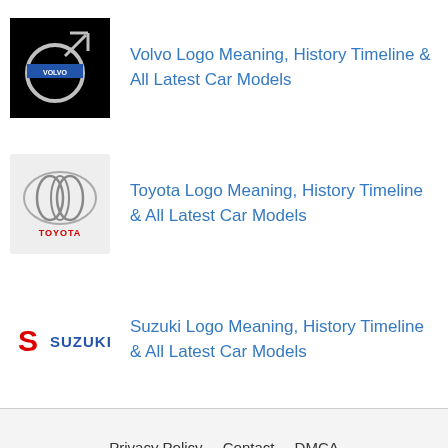Volvo Logo Meaning, History Timeline & All Latest Car Models
Toyota Logo Meaning, History Timeline & All Latest Car Models
Suzuki Logo Meaning, History Timeline & All Latest Car Models
Privacy Policy   Contact   DMCA
TopClassCars.net